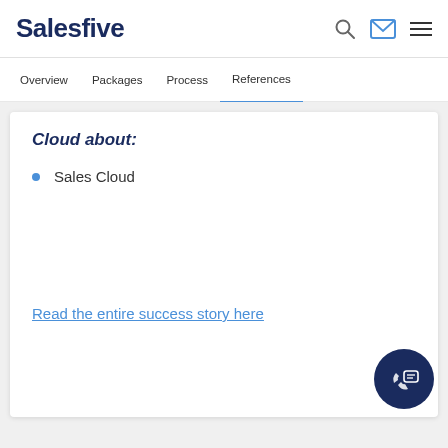Salesfive
Overview   Packages   Process   References
Cloud about:
Sales Cloud
Read the entire success story here